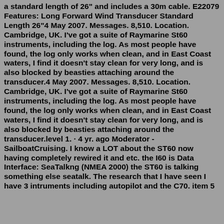a standard length of 26" and includes a 30m cable. E22079 Features: Long Forward Wind Transducer Standard Length 26"4 May 2007. Messages. 8,510. Location. Cambridge, UK. I've got a suite of Raymarine St60 instruments, including the log. As most people have found, the log only works when clean, and in East Coast waters, I find it doesn't stay clean for very long, and is also blocked by beasties attaching around the transducer.4 May 2007. Messages. 8,510. Location. Cambridge, UK. I've got a suite of Raymarine St60 instruments, including the log. As most people have found, the log only works when clean, and in East Coast waters, I find it doesn't stay clean for very long, and is also blocked by beasties attaching around the transducer.level 1. · 4 yr. ago Moderator - SailboatCruising. I know a LOT about the ST60 now having completely rewired it and etc. the I60 is Data Interface: SeaTalkng (NMEA 2000) the ST60 is talking something else seatalk. The research that I have seen I have 3 intruments including autopilot and the C70. item 5